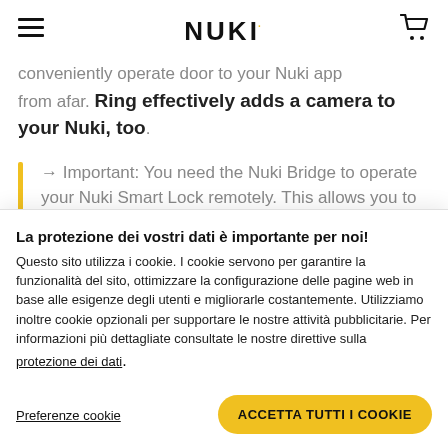NUKI
conveniently operate door to your Nuki app from afar. Ring effectively adds a camera to your Nuki, too.
→ Important: You need the Nuki Bridge to operate your Nuki Smart Lock remotely. This allows you to control your smart door lock
La protezione dei vostri dati è importante per noi!
Questo sito utilizza i cookie. I cookie servono per garantire la funzionalità del sito, ottimizzare la configurazione delle pagine web in base alle esigenze degli utenti e migliorarle costantemente. Utilizziamo inoltre cookie opzionali per supportare le nostre attività pubblicitarie. Per informazioni più dettagliate consultate le nostre direttive sulla
protezione dei dati.
Preferenze cookie
ACCETTA TUTTI I COOKIE